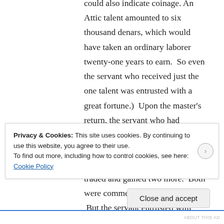could also indicate coinage. An Attic talent amounted to six thousand denars, which would have taken an ordinary laborer twenty-one years to earn. So even the servant who received just the one talent was entrusted with a great fortune.) Upon the master's return, the servant who had received five talents had invested it and made five additional talents. The servant given two talents also traded and gained two more. Both were commended by their master. But the servant entrusted with only one talent took it and hid it in the ground. When the master returned, he told him: “Master, I knew you to be a hard man, reaping
Privacy & Cookies: This site uses cookies. By continuing to use this website, you agree to their use.
To find out more, including how to control cookies, see here: Cookie Policy
Close and accept